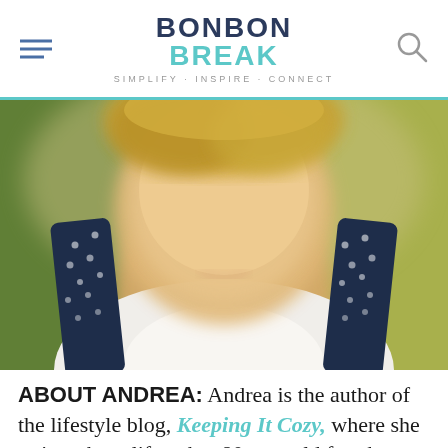BONBON BREAK — SIMPLIFY · INSPIRE · CONNECT
[Figure (photo): Close-up photo of a smiling woman with blonde hair wearing a white top with navy polka-dot straps, against a blurred green outdoor background]
ABOUT ANDREA: Andrea is the author of the lifestyle blog, Keeping It Cozy, where she writes about life at her 80 year old farmhouse in a tiny southern town. Andrea is married to the love of her life and